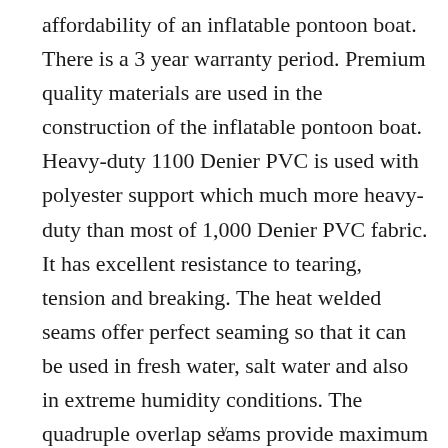affordability of an inflatable pontoon boat. There is a 3 year warranty period. Premium quality materials are used in the construction of the inflatable pontoon boat. Heavy-duty 1100 Denier PVC is used with polyester support which much more heavy-duty than most of 1,000 Denier PVC fabric. It has excellent resistance to tearing, tension and breaking. The heat welded seams offer perfect seaming so that it can be used in fresh water, salt water and also in extreme humidity conditions. The quadruple overlap seams provide maximum strength and durability. It also features heavy-duty sectional aluminum floor. It is sturdy, corrosion-proof platform for all water activities like diving, fishing and snorkeling. The separate internal air
v